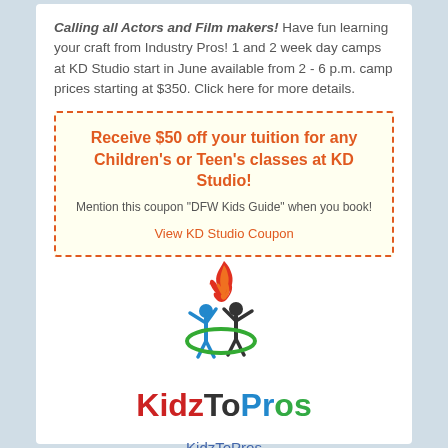Calling all Actors and Film makers! Have fun learning your craft from Industry Pros! 1 and 2 week day camps at KD Studio start in June available from 2 - 6 p.m. camp prices starting at $350. Click here for more details.
Receive $50 off your tuition for any Children's or Teen's classes at KD Studio!
Mention this coupon "DFW Kids Guide" when you book!
View KD Studio Coupon
[Figure (logo): KidzToPros logo: two human figures (blue and dark) with arms raised, a green oval swoosh around them, and a red/orange flame above. Below the graphic is the wordmark 'KidzToPros' in red, black, blue, and green.]
KidzToPros